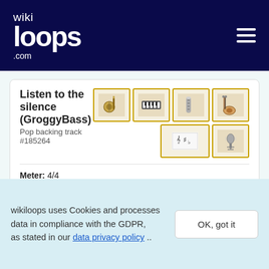[Figure (logo): wikiloops.com logo in white on dark navy header, with hamburger menu icon on right]
Listen to the silence (GroggyBass)
Pop backing track #185264
[Figure (illustration): Row of instrument icons: guitar/banjo, keyboard/harmonica, microphone/flute, bass guitar, then musical notation symbol and vocal microphone]
Meter: 4/4
Tempo: 60 BPM
Musical key: A minor
Sounds like: Pop
Red Dress
Pop backing track #149684
[Figure (illustration): Row of instrument icons: keyboard, drum/snare, flute/tube, bass guitar]
wikiloops uses Cookies and processes data in compliance with the GDPR, as stated in our data privacy policy ..
OK, got it